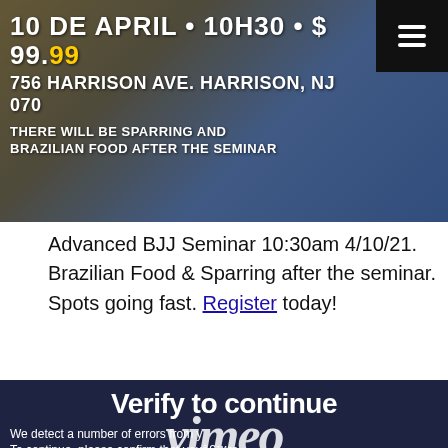[Figure (screenshot): Banner image for BJJ seminar event showing text: 10 DE APRIL • 10H30 • $99.99, 756 HARRISON AVE. HARRISON, NJ 070, THERE WILL BE SPARRING AND BRAZILIAN FOOD AFTER THE SEMINAR, with a hamburger menu icon in top right corner]
Advanced BJJ Seminar 10:30am 4/10/21. Brazilian Food & Sparring after the seminar. Spots going fast. Register today!
[Figure (screenshot): Vimeo verification page with dark navy background showing 'Verify to continue' heading, large 'vimeo' logo watermark, body text about errors and confirming not a spambot, and a reCAPTCHA 'I'm not a robot' checkbox at the bottom]